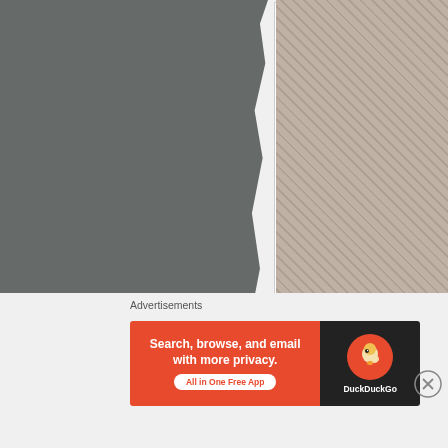[Figure (photo): Left portion of page showing a dark grayish torn-edge photograph]
[Figure (photo): Top right partial photo with dark rope/net texture on light background]
The Eiffel Tower is th... 1905 and a second e...
Decades later, in 199... disciplines battled it d...
Advertisements
[Figure (screenshot): DuckDuckGo advertisement banner: Search, browse, and email with more privacy. All in One Free App]